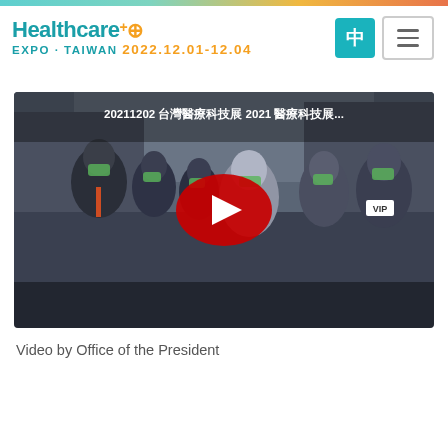Healthcare+ EXPO · TAIWAN 2022.12.01-12.04
[Figure (screenshot): YouTube video thumbnail showing a group of officials and dignitaries wearing masks at what appears to be the 2021 Healthcare Expo Taiwan event. The video title reads '20211202 台灣 2021 醫療科技展...' A YouTube play button (red circle with white triangle) is overlaid in the center. One person on the right wears a VIP badge.]
Video by Office of the President